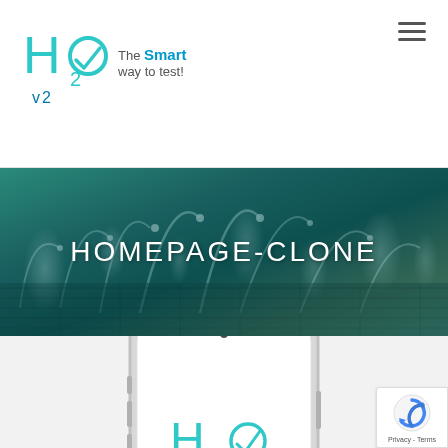[Figure (logo): H2O logo with cyan/teal stylized H, subscript 2, O with checkmark, and tagline 'The Smart way to test!']
[Figure (photo): Hero banner showing a decorative swimming pool with multiple water fountain jets, overlaid with large text 'HOMEPAGE-CLONE']
HOMEPAGE-CLONE
[Figure (photo): Smartphone mockup (iPhone-style) showing the H2O logo on its screen, partially cropped, with silver frame and visible front camera and speaker]
[Figure (logo): reCAPTCHA badge in bottom right corner with spinning arrow icon and 'Privacy - Terms' text]